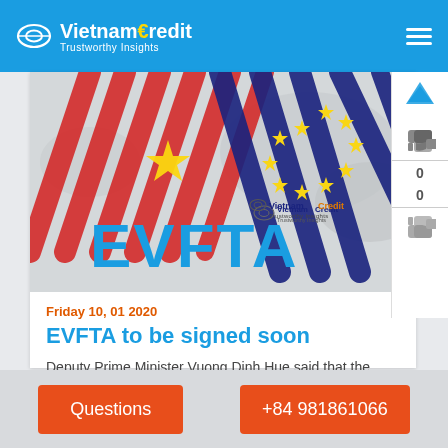VietnamCredit Trustworthy Insights
[Figure (illustration): EVFTA banner image showing Vietnam and EU flags merged together with EVFTA text, VietnamCredit logo watermark, world map background]
Friday 10, 01 2020
EVFTA to be signed soon
Deputy Prime Minister Vuong Dinh Hue said that the preparations for the...
Questions  +84 981861066